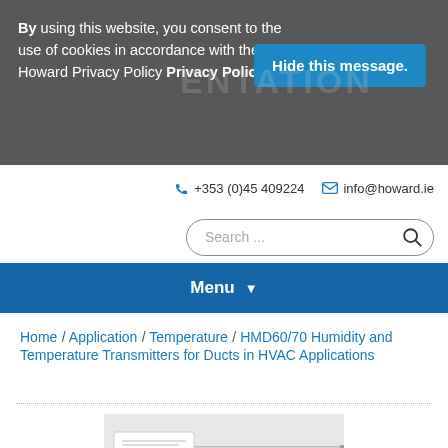By using this website, you consent to the use of cookies in accordance with the Howard Privacy Policy Privacy Policy
Hide this message.
+353 (0)45 409224   info@howard.ie
Search ...
Menu
Home / Application / Temperature / HMD60/70 Humidity and Temperature Transmitters for Ducts in HVAC Applications
[Figure (photo): Product photo of HMD60/70 Humidity and Temperature Transmitter for Ducts, showing a duct probe sensor device with a long metallic probe and white rectangular housing.]